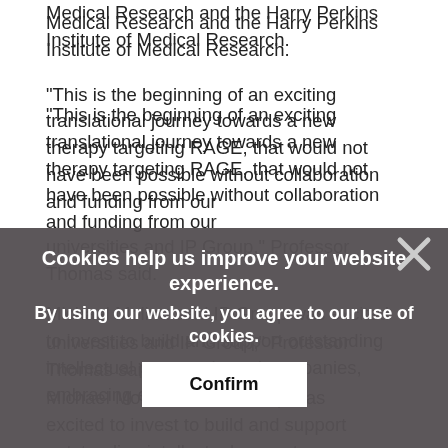Medical Research and the Harry Perkins Institute of Medical Research.
“This is the beginning of an exciting translational journey towards a new therapy targeting RAGE, that would not have been possible without collaboration and funding from our universities and IP Group,” Professor Thomas said.
Michael Molina said IP Group was excited to invest to build and support outstanding intellectual property based companies, embracing early-stage ideas
[Figure (other): Cookie consent overlay with dark semi-transparent background. Text reads: 'Cookies help us improve your website experience. By using our website, you agree to our use of cookies.' with a 'Confirm' button and an X close button.]